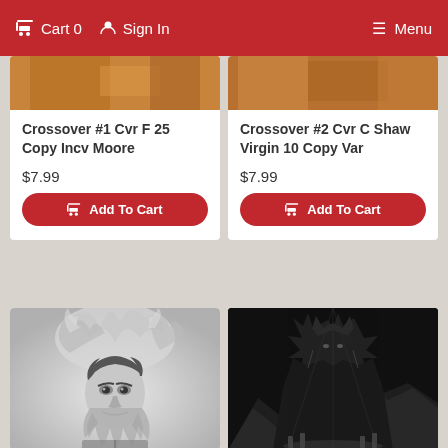Cart 0  Sign In  Menu
Crossover #1 Cvr F 25 Copy Incv Moore
$7.99
Add To Cart
Crossover #2 Cvr C Shaw Virgin 10 Copy Var
$7.99
Add To Cart
[Figure (illustration): Grayscale comic book cover showing a man's face surrounded by swirling flames and smoke]
[Figure (illustration): Dark monochromatic comic book cover showing a figure in darkness with angular shapes]